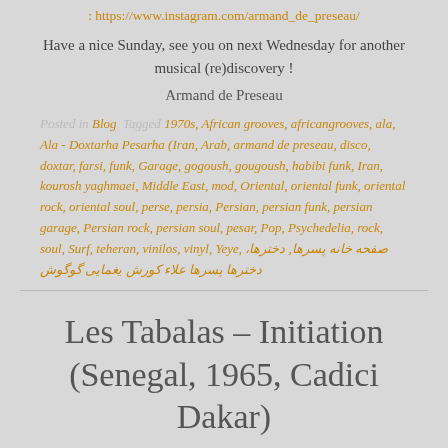: https://www.instagram.com/armand_de_preseau/
Have a nice Sunday, see you on next Wednesday for another musical (re)discovery !
Armand de Preseau
Posted in Blog  Tagged 1970s, African grooves, africangrooves, ala, Ala - Doxtarha Pesarha (Iran, Arab, armand de preseau, disco, doxtar, farsi, funk, Garage, gogoush, gougoush, habibi funk, Iran, kourosh yaghmaei, Middle East, mod, Oriental, oriental funk, oriental rock, oriental soul, perse, persia, Persian, persian funk, persian garage, Persian rock, persian soul, pesar, Pop, Psychedelia, rock, soul, Surf, teheran, vinilos, vinyl, Yeye, صفحه خانه پسرها, دخترها، دخترها پسرها علاء کورش یغمایی گوگوش
Les Tabalas – Initiation (Senegal, 1965, Cadici Dakar)